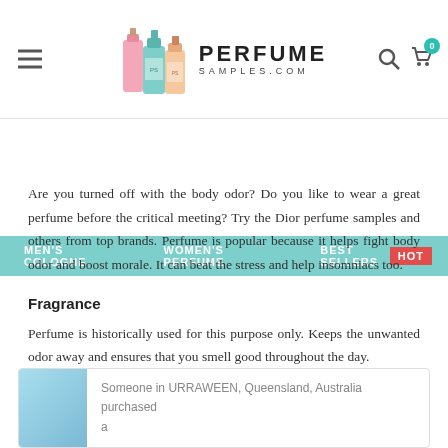[Figure (logo): PerfumeSamples.com logo with perfume bottle images and navigation icons]
MEN'S COLOGNE   WOMEN'S PERFUME   BEST SELLERS   HOT
Are you turned off with the body odor? Do you like to wear a great perfume before the critical meeting? Try the Dior perfume samples and others from top brands. Perfume is popular because it helps fight body odor and boost morale. It can beat the stress and help insomniacs too.
Fragrance
Perfume is historically used for this purpose only. Keeps the unwanted odor away and ensures that you smell good throughout the day.
Someone in URRAWEEN, Queensland, Australia purchased a